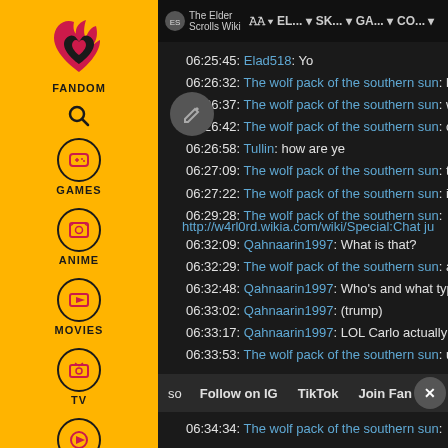[Figure (screenshot): Fandom website left sidebar with yellow background showing Fandom logo, search, Games, Anime, Movies, TV, Video navigation icons]
The Elder Scrolls Wiki navigation bar with menu items: AA, EL..., SK..., GA..., CO...
06:25:45: Elad518: Yo
06:26:32: The wolf pack of the southern sun: h
06:26:37: The wolf pack of the southern sun: w
06:26:42: The wolf pack of the southern sun: c
06:26:58: Tullin: how are ye
06:27:09: The wolf pack of the southern sun: t
06:27:22: The wolf pack of the southern sun: it
06:29:28: The wolf pack of the southern sun: http://w4rl0rd.wikia.com/wiki/Special:Chat ju
06:32:09: Qahnaarin1997: What is that?
06:32:29: The wolf pack of the southern sun: a
06:32:48: Qahnaarin1997: Who's and what typ
06:33:02: Qahnaarin1997: (trump)
06:33:17: Qahnaarin1997: LOL Carlo actually ac
06:33:53: The wolf pack of the southern sun: u
so  Follow on IG  TikTok  Join Fan Lab  X
06:34:34: The wolf pack of the southern sun: